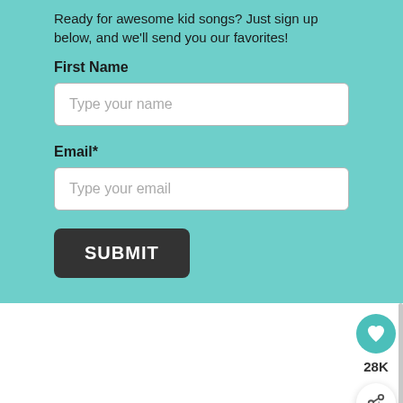Ready for awesome kid songs? Just sign up below, and we'll send you our favorites!
First Name
Type your name
Email*
Type your email
SUBMIT
[Figure (infographic): Heart/like button (teal circle with white heart icon), like count '28K', and share button (white circle with share icon)]
[Figure (infographic): Mattress Firm advertisement banner: red logo box with 'MATTRESS FIRM' text, headline 'Our best brands.', subtext 'Lowest prices, guaranteed.', with ad controls and close X button]